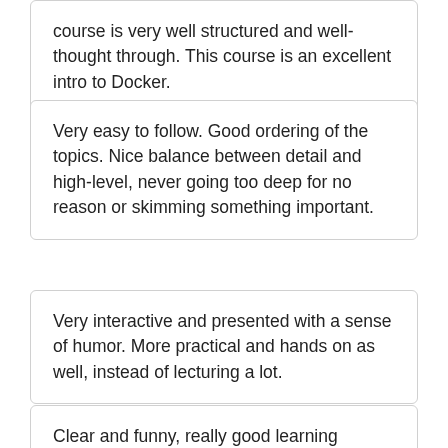course is very well structured and well-thought through. This course is an excellent intro to Docker.
Very easy to follow. Good ordering of the topics. Nice balance between detail and high-level, never going too deep for no reason or skimming something important.
Very interactive and presented with a sense of humor. More practical and hands on as well, instead of lecturing a lot.
Clear and funny, really good learning material